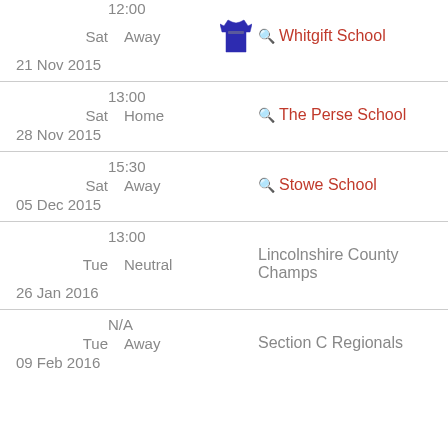| Time | Day | Venue | Opponent | Date |
| --- | --- | --- | --- | --- |
| 12:00 | Sat | Away | Whitgift School | 21 Nov 2015 |
| 13:00 | Sat | Home | The Perse School | 28 Nov 2015 |
| 15:30 | Sat | Away | Stowe School | 05 Dec 2015 |
| 13:00 | Tue | Neutral | Lincolnshire County Champs | 26 Jan 2016 |
| N/A | Tue | Away | Section C Regionals | 09 Feb 2016 |